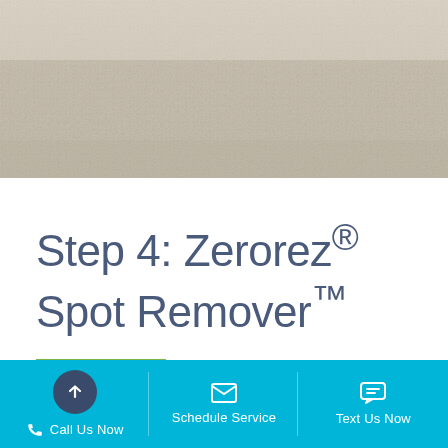[Figure (photo): Close-up photo of light beige/cream carpet texture filling the top portion of the page]
Step 4: Zerorez® Spot Remover™
Call Us Now | Schedule Service | Text Us Now